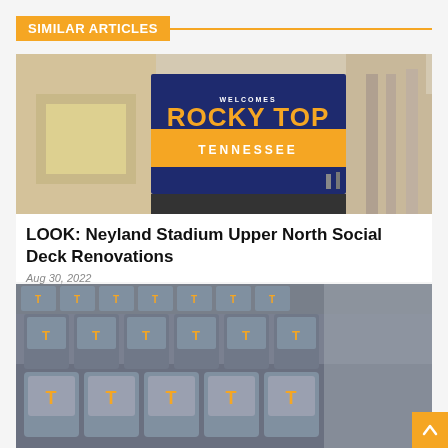SIMILAR ARTICLES
[Figure (photo): Photo of Neyland Stadium entrance with a large navy blue and orange sign reading 'WELCOMES ROCKY TOP TENNESSEE']
LOOK: Neyland Stadium Upper North Social Deck Renovations
Aug 30, 2022
[Figure (photo): Photo of gray stadium seats with orange University of Tennessee 'T' logos on the backs of the seats]